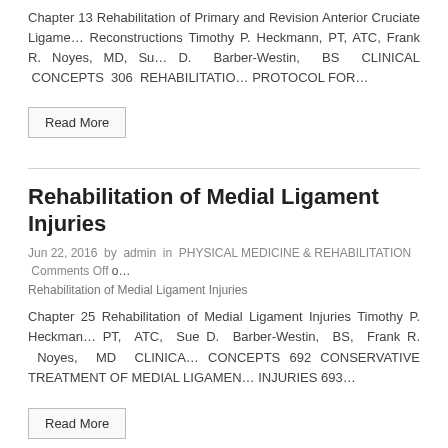Chapter 13 Rehabilitation of Primary and Revision Anterior Cruciate Ligament Reconstructions Timothy P. Heckmann, PT, ATC, Frank R. Noyes, MD, Sue D. Barber-Westin, BS CLINICAL CONCEPTS 306 REHABILITATION PROTOCOL FOR…
Read More
Rehabilitation of Medial Ligament Injuries
Jun 22, 2016 by admin in PHYSICAL MEDICINE & REHABILITATION Comments Off on Rehabilitation of Medial Ligament Injuries
Chapter 25 Rehabilitation of Medial Ligament Injuries Timothy P. Heckmann, PT, ATC, Sue D. Barber-Westin, BS, Frank R. Noyes, MD CLINICAL CONCEPTS 692 CONSERVATIVE TREATMENT OF MEDIAL LIGAMENT INJURIES 693…
Read More
Rehabilitation of Glenohumeral Instability